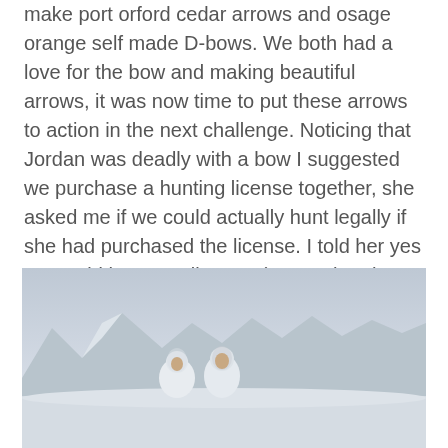make port orford cedar arrows and osage orange self made D-bows.  We both had a love for the bow and making beautiful arrows, it was now time to put these arrows to action in the next challenge.  Noticing that Jordan was deadly with a bow I suggested we purchase a hunting license together, she asked me if we could actually hunt legally if she had purchased the license. I told her yes we could hunt small game (Snow shoe hare, ptarmigan, red squirrel, and spruce hen)because thats the small game open this season and off we went.
[Figure (photo): Two people in white winter camouflage gear standing in a snowy landscape with snow-covered mountains in the background under an overcast sky.]